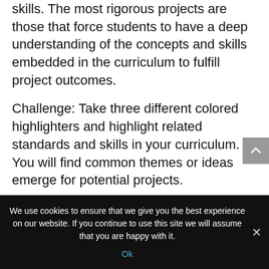skills. The most rigorous projects are those that force students to have a deep understanding of the concepts and skills embedded in the curriculum to fulfill project outcomes.
Challenge: Take three different colored highlighters and highlight related standards and skills in your curriculum. You will find common themes or ideas emerge for potential projects.
2. Project- Based Learning is entirely
We use cookies to ensure that we give you the best experience on our website. If you continue to use this site we will assume that you are happy with it.
Ok